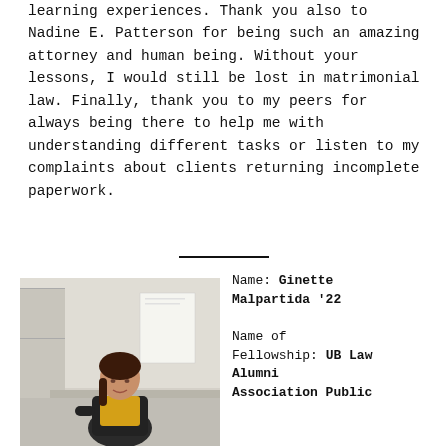learning experiences. Thank you also to Nadine E. Patterson for being such an amazing attorney and human being. Without your lessons, I would still be lost in matrimonial law. Finally, thank you to my peers for always being there to help me with understanding different tasks or listen to my complaints about clients returning incomplete paperwork.
[Figure (photo): Photo of Ginette Malpartida, a young woman seated in an office environment, wearing a yellow top and dark blazer.]
Name: Ginette Malpartida '22
Name of Fellowship: UB Law Alumni Association Public